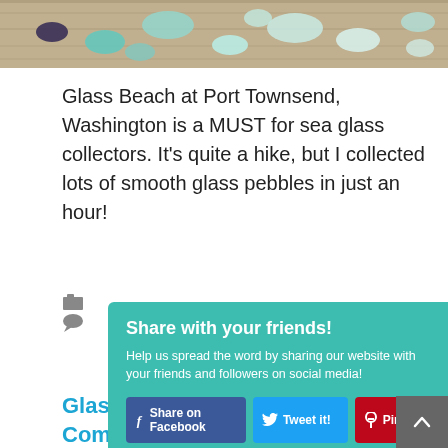[Figure (photo): Photo of colorful sea glass pebbles on weathered wood background — blue, green, and white frosted glass pieces]
Glass Beach at Port Townsend, Washington is a MUST for sea glass collectors. It's quite a hike, but I collected lots of smooth glass pebbles in just an hour!
Share with your friends!
Help us spread the word by sharing our website with your friends and followers on social media!
Share on Facebook  Tweet it!  Pin it!
Glass Beach, Fort Bragg: Complete Sea Glass Hunting Guide